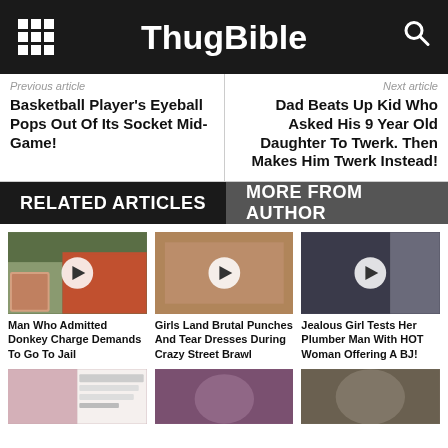ThugBible
Previous article
Next article
Basketball Player's Eyeball Pops Out Of Its Socket Mid-Game!
Dad Beats Up Kid Who Asked His 9 Year Old Daughter To Twerk. Then Makes Him Twerk Instead!
RELATED ARTICLES
MORE FROM AUTHOR
[Figure (photo): Video thumbnail with play button - animal scene]
Man Who Admitted Donkey Charge Demands To Go To Jail
[Figure (photo): Video thumbnail with play button - women fighting]
Girls Land Brutal Punches And Tear Dresses During Crazy Street Brawl
[Figure (photo): Video thumbnail with play button - woman posing]
Jealous Girl Tests Her Plumber Man With HOT Woman Offering A BJ!
[Figure (screenshot): Screenshot of tweet/social media post]
[Figure (photo): Photo of a woman]
[Figure (photo): Photo of woman]